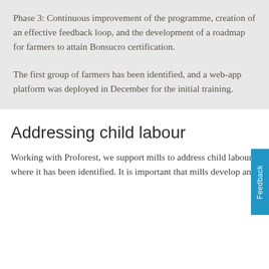Phase 3: Continuous improvement of the programme, creation of an effective feedback loop, and the development of a roadmap for farmers to attain Bonsucro certification.
The first group of farmers has been identified, and a web-app platform was deployed in December for the initial training.
Addressing child labour
Working with Proforest, we support mills to address child labour where it has been identified. It is important that mills develop and